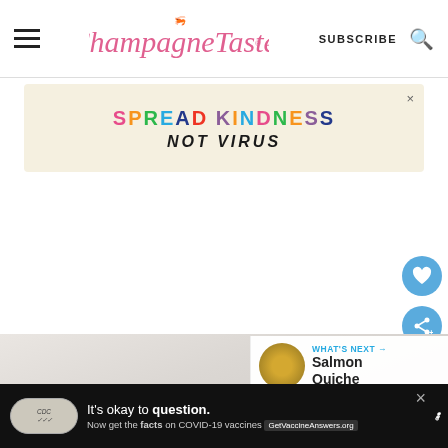[Figure (screenshot): Website header for ChampagneTastes blog with hamburger menu, logo in pink script, SUBSCRIBE text and search icon]
[Figure (infographic): Advertisement banner with colorful text SPREAD KINDNESS NOT VIRUS on beige background]
[Figure (photo): Partial food photo showing a marble/white surface, likely a baking or cooking scene]
WHAT'S NEXT → Salmon Quiche
[Figure (infographic): Bottom black advertisement bar: It's okay to question. Now get the facts on COVID-19 vaccines. GetVaccineAnswers.org]